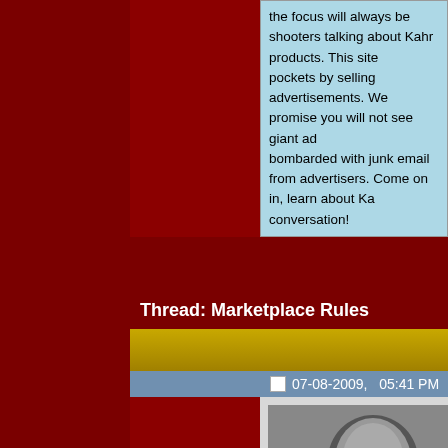the focus will always be shooters talking about Kahr products. This site pockets by selling advertisements. We promise you will not see giant ad bombarded with junk email from advertisers. Come on in, learn about Ka conversation!
Thread: Marketplace Rules
07-08-2009,   05:41 PM
johnh  Administrator
[Figure (photo): Black and white photo of a bearded man wearing sunglasses outdoors]
Marketplace Rules
Welcome to KahrTalk.com, the official forums of Ka
Forum members are welcome to post topics in the var Some simple house rules must be followed at all times these rules before posting. The moderators want to we forum, and hope that it will be a fun place for fans of K